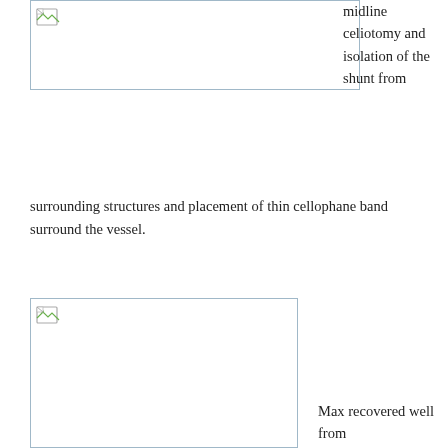[Figure (photo): Top image placeholder (broken image box, surgical photo)]
midline celiotomy and isolation of the shunt from surrounding structures and placement of thin cellophane band surround the vessel.
[Figure (photo): Bottom image placeholder (broken image box, post-surgery photo)]
Max recovered well from